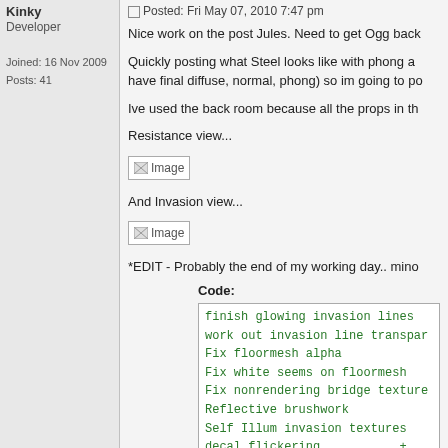Kinky
Developer
Joined: 16 Nov 2009
Posts: 41
Posted: Fri May 07, 2010 7:47 pm
Nice work on the post Jules. Need to get Ogg back
Quickly posting what Steel looks like with phong and have final diffuse, normal, phong) so im going to po
Ive used the back room because all the props in th
Resistance view...
[Figure (photo): Broken image placeholder labeled 'Image']
And Invasion view...
[Figure (photo): Broken image placeholder labeled 'Image']
*EDIT - Probably the end of my working day.. mino
Code:
finish glowing invasion lines
work out invasion line transpar
Fix floormesh alpha
Fix white seems on floormesh
Fix nonrendering bridge texture
Reflective brushwork
Self Illum invasion textures
decal flickering           +
Invasionweapon phong
Fix controlpanel normal